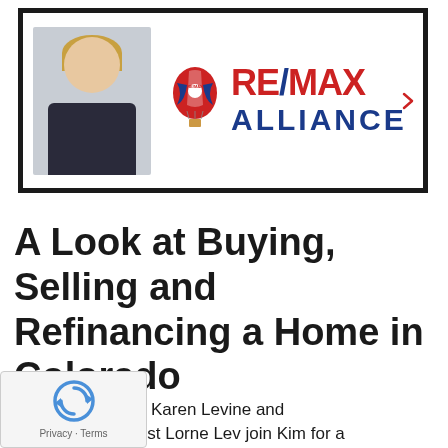[Figure (logo): RE/MAX Alliance banner with person photo on left, hot air balloon logo, RE/MAX text in red and ALLIANCE in blue on right]
A Look at Buying, Selling and Refinancing a Home in Colorado
d-winning Realtor Karen Levine and mortgage specialist Lorne Levjoin Kim for a